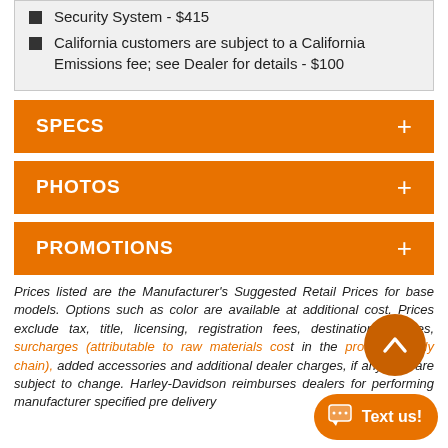Security System - $415
California customers are subject to a California Emissions fee; see Dealer for details - $100
SPECS
PHOTOS
PROMOTIONS
Prices listed are the Manufacturer's Suggested Retail Prices for base models. Options such as color are available at additional cost. Prices exclude tax, title, licensing, registration fees, destination charges, surcharges (attributable to raw materials cost in the product supply chain), added accessories and additional dealer charges, if any, and are subject to change. Harley-Davidson reimburses dealers for performing manufacturer specified pre delivery